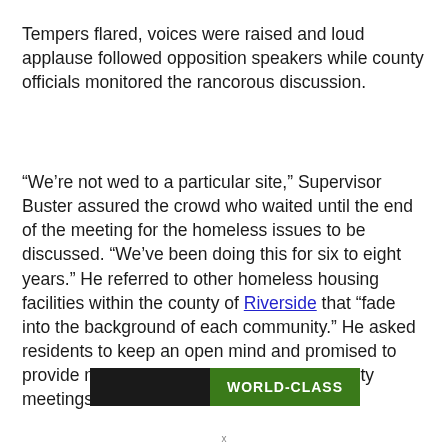Tempers flared, voices were raised and loud applause followed opposition speakers while county officials monitored the rancorous discussion.
“We’re not wed to a particular site,” Supervisor Buster assured the crowd who waited until the end of the meeting for the homeless issues to be discussed. “We’ve been doing this for six to eight years.” He referred to other homeless housing facilities within the county of Riverside that “fade into the background of each community.” He asked residents to keep an open mind and promised to provide more information at future community meetings.
[Figure (other): Advertisement banner with dark left section and green right section showing text WORLD-CLASS]
x